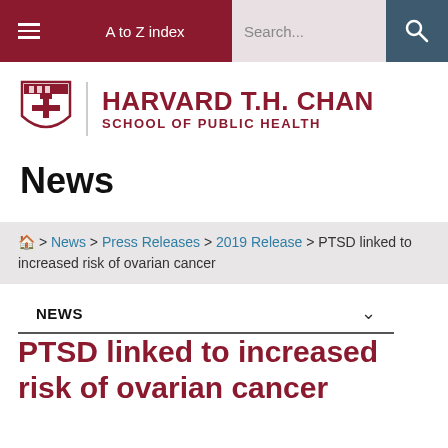≡  A to Z index  Search...  🔍
[Figure (logo): Harvard T.H. Chan School of Public Health logo with shield crest]
News
🏠 > News > Press Releases > 2019 Release > PTSD linked to increased risk of ovarian cancer
NEWS
PTSD linked to increased risk of ovarian cancer